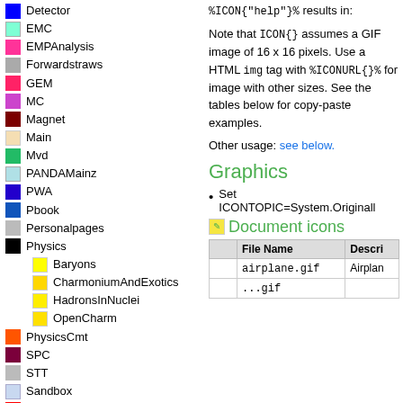Detector
EMC
EMPAnalysis
Forwardstraws
GEM
MC
Magnet
Main
Mvd
PANDAMainz
PWA
Pbook
Personalpages
Physics
Baryons
CharmoniumAndExotics
HadronsInNuclei
OpenCharm
PhysicsCmt
SPC
STT
Sandbox
ScrutinyGroup
System
Tagpid
Pandatagpid
%ICON{"help"}% results in:
Note that ICON{} assumes a GIF image of 16 x 16 pixels. Use a HTML img tag with %ICONURL{}% for image with other sizes. See the tables below for copy-paste examples.
Other usage: see below.
Graphics
Set ICONTOPIC=System.OriginalI...
Document icons
| File Name | Descri... |
| --- | --- |
| airplane.gif | Airplan... |
| ...gif | ... |